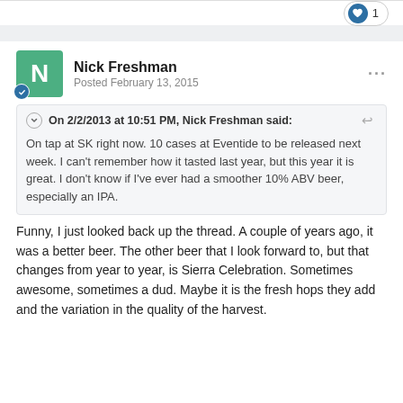[Figure (other): Like button pill with heart icon and count of 1]
Nick Freshman
Posted February 13, 2015
On 2/2/2013 at 10:51 PM, Nick Freshman said:
On tap at SK right now. 10 cases at Eventide to be released next week. I can't remember how it tasted last year, but this year it is great. I don't know if I've ever had a smoother 10% ABV beer, especially an IPA.
Funny, I just looked back up the thread. A couple of years ago, it was a better beer. The other beer that I look forward to, but that changes from year to year, is Sierra Celebration. Sometimes awesome, sometimes a dud. Maybe it is the fresh hops they add and the variation in the quality of the harvest.